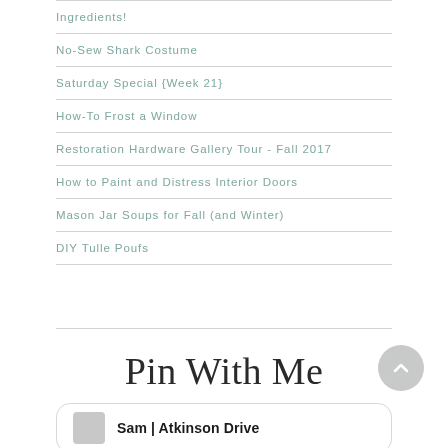Ingredients!
No-Sew Shark Costume
Saturday Special {Week 21}
How-To Frost a Window
Restoration Hardware Gallery Tour - Fall 2017
How to Paint and Distress Interior Doors
Mason Jar Soups for Fall (and Winter)
DIY Tulle Poufs
Pin With Me
Sam | Atkinson Drive